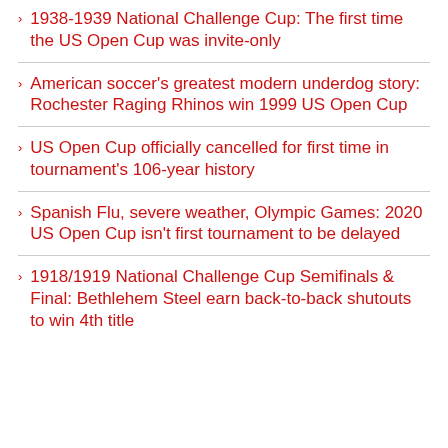1938-1939 National Challenge Cup: The first time the US Open Cup was invite-only
American soccer's greatest modern underdog story: Rochester Raging Rhinos win 1999 US Open Cup
US Open Cup officially cancelled for first time in tournament's 106-year history
Spanish Flu, severe weather, Olympic Games: 2020 US Open Cup isn't first tournament to be delayed
1918/1919 National Challenge Cup Semifinals & Final: Bethlehem Steel earn back-to-back shutouts to win 4th title